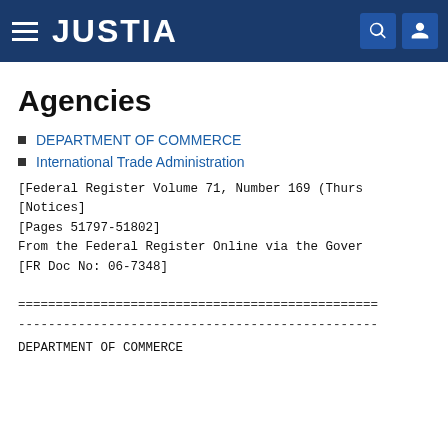JUSTIA
Agencies
DEPARTMENT OF COMMERCE
International Trade Administration
[Federal Register Volume 71, Number 169 (Thurs
[Notices]
[Pages 51797-51802]
From the Federal Register Online via the Gover
[FR Doc No: 06-7348]
================================================
------------------------------------------------
DEPARTMENT OF COMMERCE